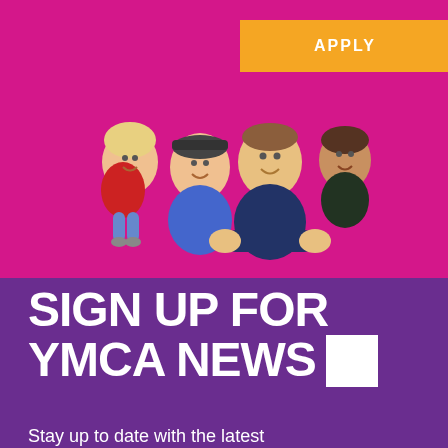[Figure (other): Yellow/orange APPLY button on magenta/pink background]
[Figure (photo): A smiling family of four lying down together on a magenta/pink background — a woman with a cap, a man in navy blue shirt, a young girl in red climbing on the woman's back, and a boy in dark shirt on the man's back]
SIGN UP FOR YMCA NEWS
Stay up to date with the latest